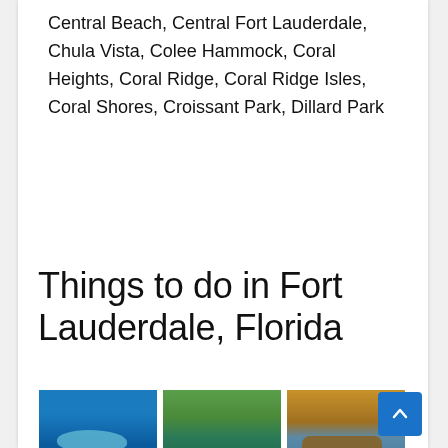Central Beach, Central Fort Lauderdale, Chula Vista, Colee Hammock, Coral Heights, Coral Ridge, Coral Ridge Isles, Coral Shores, Croissant Park, Dillard Park
Things to do in Fort Lauderdale, Florida
[Figure (photo): Three images side by side: dolphins in blue ocean water, people kayaking in a green waterway with trees, and a pirate ship on water.]
A Day on the Water
Blue Moon Outdoor Adventures - Fort
BlueFoot Pirate Adventures